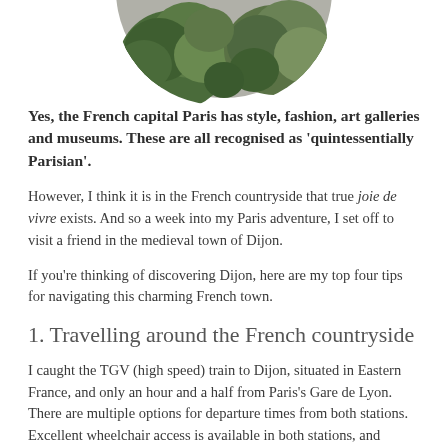[Figure (photo): Circular cropped photo showing green foliage/topiary plant against a grey background, only the bottom portion visible as the image is cut off at the top of the page]
Yes, the French capital Paris has style, fashion, art galleries and museums. These are all recognised as 'quintessentially Parisian'.
However, I think it is in the French countryside that true joie de vivre exists. And so a week into my Paris adventure, I set off to visit a friend in the medieval town of Dijon.
If you're thinking of discovering Dijon, here are my top four tips for navigating this charming French town.
1. Travelling around the French countryside
I caught the TGV (high speed) train to Dijon, situated in Eastern France, and only an hour and a half from Paris's Gare de Lyon. There are multiple options for departure times from both stations. Excellent wheelchair access is available in both stations, and